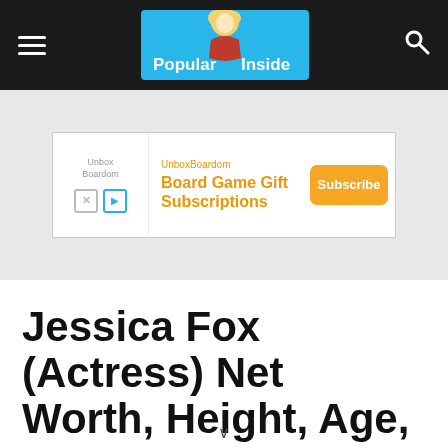Popular Inside
[Figure (screenshot): Advertisement banner for UnboxBoardom Board Game Gift Subscriptions with a Subscribe button]
Jessica Fox (Actress) Net Worth, Height, Age, And More